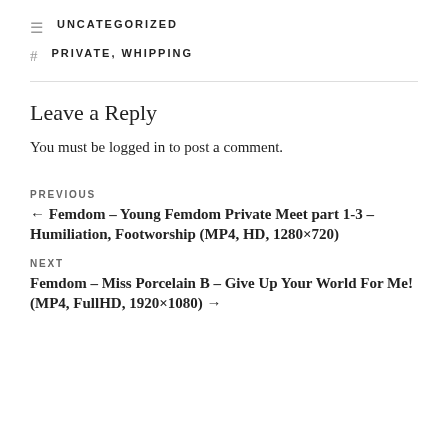UNCATEGORIZED
PRIVATE, WHIPPING
Leave a Reply
You must be logged in to post a comment.
PREVIOUS
← Femdom – Young Femdom Private Meet part 1-3 – Humiliation, Footworship (MP4, HD, 1280×720)
NEXT
Femdom – Miss Porcelain B – Give Up Your World For Me! (MP4, FullHD, 1920×1080) →